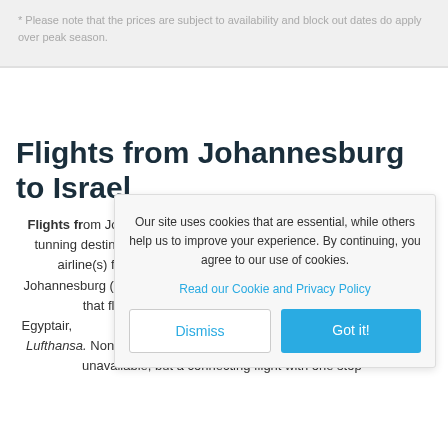* Please note that the prices are subject to availability and block out dates do apply over peak season.
Flights from Johannesburg to Israel
Flights from Johannesburg to Israel are currently available to this stunning destination. The flight duration is 11 hours and there are 1 airline(s) flying from OR Oliver Tambo International Airport Johannesburg (JNB) to Ben Gurion Airport Tel Aviv (TLV). The airlines that fly between Johannesburg and Israel include Egyptair, ... Airlines, British Airways, and Lufthansa. Non-stop flights from Johannesburg to Israel are currently unavailable, but a connecting flight with one stop-over will get you to this fascinating Middle East...
Our site uses cookies that are essential, while others help us to improve your experience. By continuing, you agree to our use of cookies.
Read our Cookie and Privacy Policy
Dismiss
Got it!